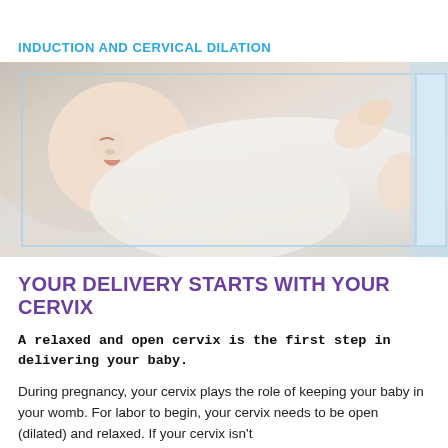INDUCTION AND CERVICAL DILATION
[Figure (photo): Photo of a newborn baby wrapped in a white swaddle blanket, lying on its back with arms raised, mouth open, on a light-colored surface with soft background.]
YOUR DELIVERY STARTS WITH YOUR CERVIX
A relaxed and open cervix is the first step in delivering your baby.
During pregnancy, your cervix plays the role of keeping your baby in your womb. For labor to begin, your cervix needs to be open (dilated) and relaxed. If your cervix isn't